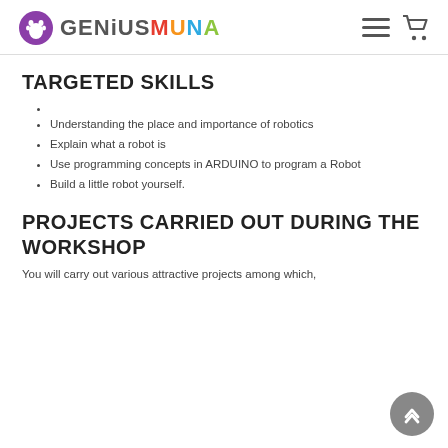GENIUS MUNA
TARGETED SKILLS
Understanding the place and importance of robotics
Explain what a robot is
Use programming concepts in ARDUINO to program a Robot
Build a little robot yourself.
PROJECTS CARRIED OUT DURING THE WORKSHOP
You will carry out various attractive projects among which,